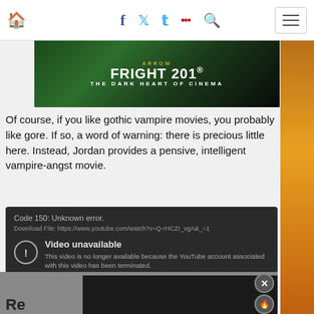Navigation bar with home, facebook, twitter, flickr, search icons and menu button
[Figure (photo): Arrow / Fright 201 - The Dark Heart of Cinema banner advertisement]
Of course, if you like gothic vampire movies, you probably like gore. If so, a word of warning: there is precious little here. Instead, Jordan provides a pensive, intelligent vampire-angst movie.
[Figure (screenshot): Embedded YouTube video error: Code 150: Unknown error. Download File: https://www.youtube.com/watch?v=Q-rHCZr_vgA&_=1. Video unavailable. This video is no longer available because the YouTube account associated with this video has been terminated.]
Re